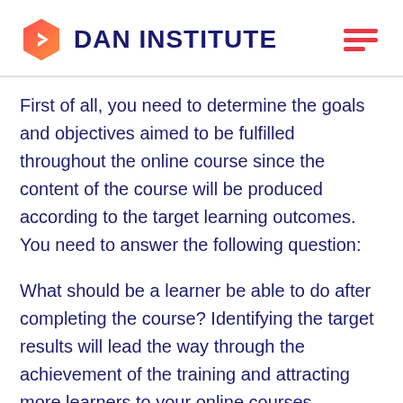DAN INSTITUTE
First of all, you need to determine the goals and objectives aimed to be fulfilled throughout the online course since the content of the course will be produced according to the target learning outcomes. You need to answer the following question:
What should be a learner be able to do after completing the course? Identifying the target results will lead the way through the achievement of the training and attracting more learners to your online courses.